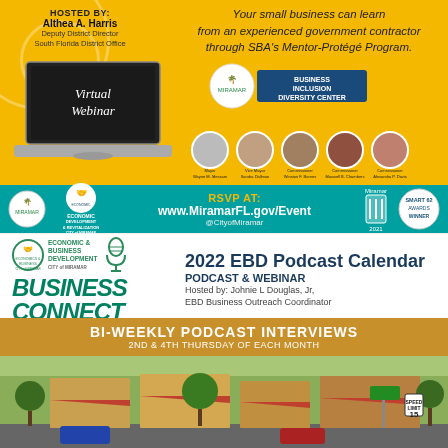HOSTED BY:
Althea A. Harris
Deputy District Director
South Florida District Office
Your small business can learn from an experienced government contractor through SBA's Mentor-Protégé Program.
[Figure (illustration): Virtual Webinar laptop illustration with text on screen]
[Figure (logo): Miramar Business Inclusion Diversity Center logo with official portraits]
RSVP AT:
www.MiramarFL.gov/Event
@CityofMiramar
[Figure (logo): Economic Development & Revitalization - City of Miramar logo]
[Figure (logo): Smart 62 Awards Winner badge]
[Figure (logo): EBD Business Connect logo with microphone]
2022 EBD Podcast Calendar
PODCAST & WEBINAR
Hosted by: Johnie L Douglas, Jr,
EBD Business Outreach Coordinator
BI-WEEKLY PODCAST INTERVIEWS
2ND & 4TH THURSDAY OF EACH MONTH
[Figure (photo): Street view photo of local businesses with awnings]